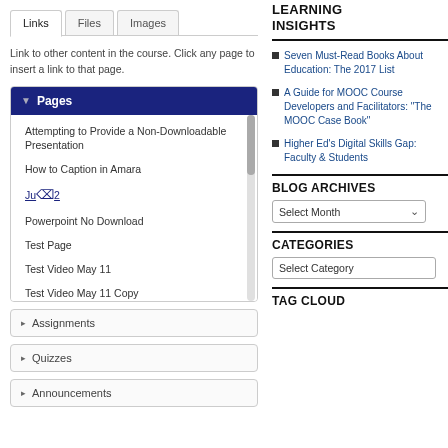[Figure (screenshot): Learning management system interface showing Links/Files/Images tabs with a Pages section expanded listing course pages, and collapsed Assignments, Quizzes, and Announcements sections. Right sidebar shows Learning Insights with blog links, Blog Archives, Categories, and Tag Cloud sections.]